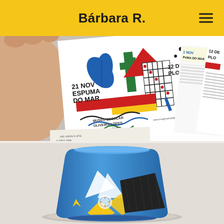Bárbara R.
[Figure (photo): Hand holding colorful event flyers/posters for 'Espuma do Mar' events on 21 Nov and 12 Dez Plouf at Museu Escolar Oliveira Lopes, Válega - Ovar, with geometric illustrated design in red, blue, green, yellow and black]
[Figure (photo): A ceramic cup/mug decorated with blue, yellow, white and black graphic illustration design, placed on a white surface]